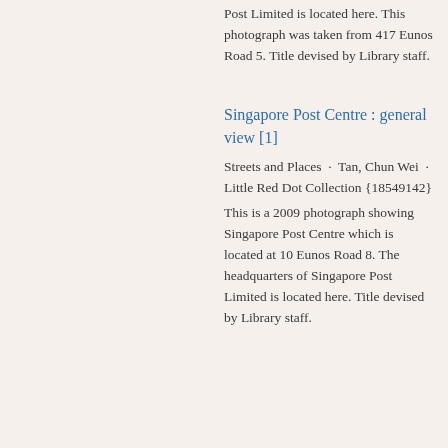Post Limited is located here. This photograph was taken from 417 Eunos Road 5. Title devised by Library staff.
Singapore Post Centre : general view [1]
Streets and Places · Tan, Chun Wei · Little Red Dot Collection {18549142}
This is a 2009 photograph showing Singapore Post Centre which is located at 10 Eunos Road 8. The headquarters of Singapore Post Limited is located here. Title devised by Library staff.